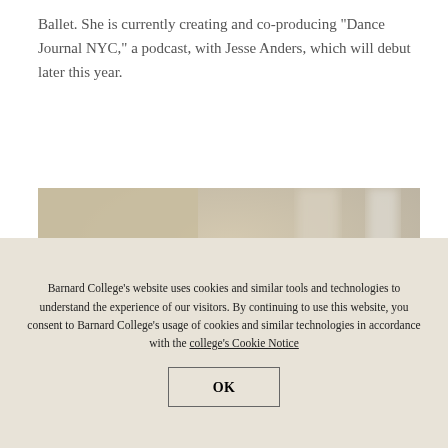Ballet. She is currently creating and co-producing "Dance Journal NYC," a podcast, with Jesse Anders, which will debut later this year.
[Figure (photo): Close-up photo of a person's head (top portion visible) with blurred background in beige/grey tones.]
Barnard College's website uses cookies and similar tools and technologies to understand the experience of our visitors. By continuing to use this website, you consent to Barnard College's usage of cookies and similar technologies in accordance with the college's Cookie Notice